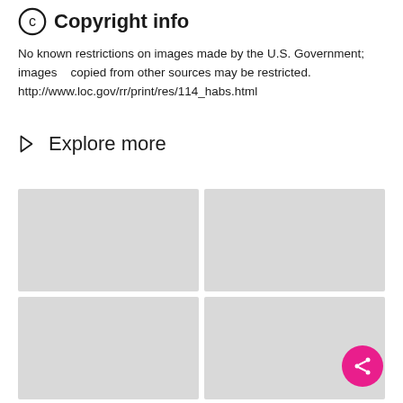© Copyright info
No known restrictions on images made by the U.S. Government; images copied from other sources may be restricted. http://www.loc.gov/rr/print/res/114_habs.html
Explore more
[Figure (photo): Placeholder image thumbnail (light gray box), top-left of 2x2 grid]
[Figure (photo): Placeholder image thumbnail (light gray box), top-right of 2x2 grid]
[Figure (photo): Placeholder image thumbnail (light gray box), bottom-left of 2x2 grid]
[Figure (photo): Placeholder image thumbnail (light gray box), bottom-right of 2x2 grid, with pink share button overlay]